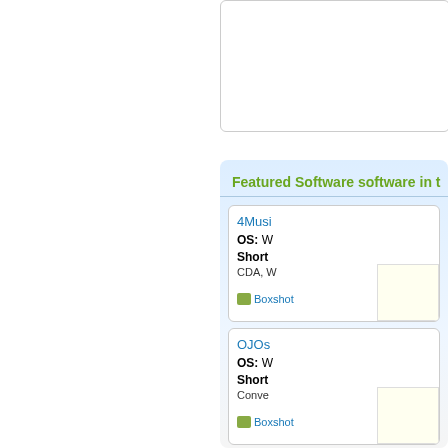Featured Software software in t
[Figure (screenshot): Software listing card for 4Music showing Boxshot image placeholder, OS: W, Short description mentioning CDA, W, and a yellow info box]
4Musi
OS: W
Short
CDA, W
[Figure (screenshot): Software listing card for OJOs showing Boxshot image placeholder, OS: W, Short description mentioning Conve, and a yellow info box]
OJOs
OS: W
Short
Conve